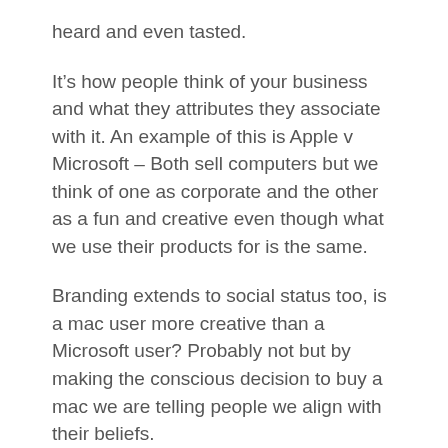heard and even tasted.
It’s how people think of your business and what they attributes they associate with it. An example of this is Apple v Microsoft – Both sell computers but we think of one as corporate and the other as a fun and creative even though what we use their products for is the same.
Branding extends to social status too, is a mac user more creative than a Microsoft user? Probably not but by making the conscious decision to buy a mac we are telling people we align with their beliefs.
It’s an intangible and emotional process and forms the reputation of your business and how other perceive you. Although this quote